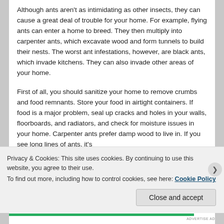Although ants aren't as intimidating as other insects, they can cause a great deal of trouble for your home. For example, flying ants can enter a home to breed. They then multiply into carpenter ants, which excavate wood and form tunnels to build their nests. The worst ant infestations, however, are black ants, which invade kitchens. They can also invade other areas of your home.
First of all, you should sanitize your home to remove crumbs and food remnants. Store your food in airtight containers. If food is a major problem, seal up cracks and holes in your walls, floorboards, and radiators, and check for moisture issues in your home. Carpenter ants prefer damp wood to live in. If you see long lines of ants, it's
Privacy & Cookies: This site uses cookies. By continuing to use this website, you agree to their use.
To find out more, including how to control cookies, see here: Cookie Policy